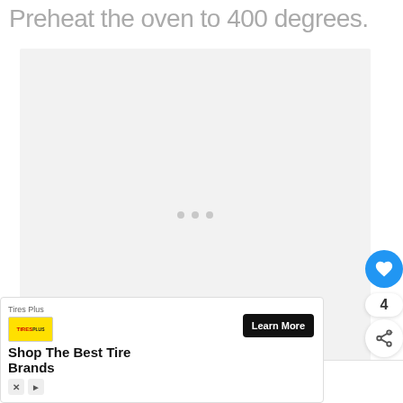Preheat the oven to 400 degrees.
[Figure (photo): Large image placeholder area (light gray background) with three gray loading dots in the center, indicating an image is loading. Social interaction buttons on the right side: heart/like button (blue circle), count badge showing '4', and share button. 'What's Next' panel showing Key Lime Pound Cake thumbnail.]
4
WHAT'S NEXT → Key Lime Pound Cake
[Figure (other): Advertisement banner: Tires Plus - Shop The Best Tire Brands - Learn More button. With X and arrow ad control icons.]